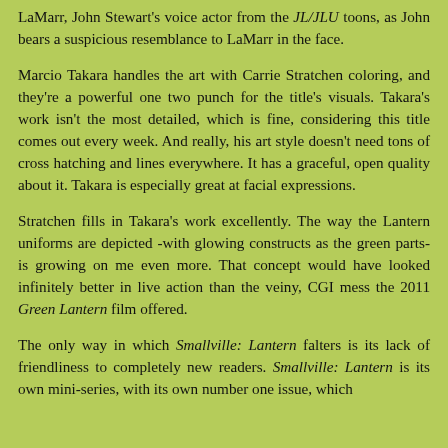LaMarr, John Stewart's voice actor from the JL/JLU toons, as John bears a suspicious resemblance to LaMarr in the face.
Marcio Takara handles the art with Carrie Stratchen coloring, and they're a powerful one two punch for the title's visuals. Takara's work isn't the most detailed, which is fine, considering this title comes out every week. And really, his art style doesn't need tons of cross hatching and lines everywhere. It has a graceful, open quality about it. Takara is especially great at facial expressions.
Stratchen fills in Takara's work excellently. The way the Lantern uniforms are depicted -with glowing constructs as the green parts- is growing on me even more. That concept would have looked infinitely better in live action than the veiny, CGI mess the 2011 Green Lantern film offered.
The only way in which Smallville: Lantern falters is its lack of friendliness to completely new readers. Smallville: Lantern is its own mini-series, with its own number one issue, which